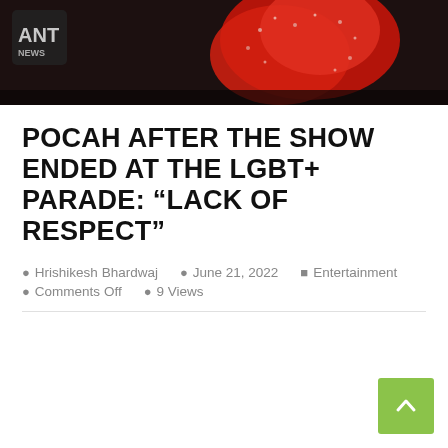[Figure (photo): Hero image showing a performer in a red sequined costume at the LGBT+ Parade, with a logo partially visible in the top left corner on a dark background.]
POCAH AFTER THE SHOW ENDED AT THE LGBT+ PARADE: “LACK OF RESPECT”
Hrishikesh Bhardwaj   June 21, 2022   Entertainment   Comments Off   9 Views